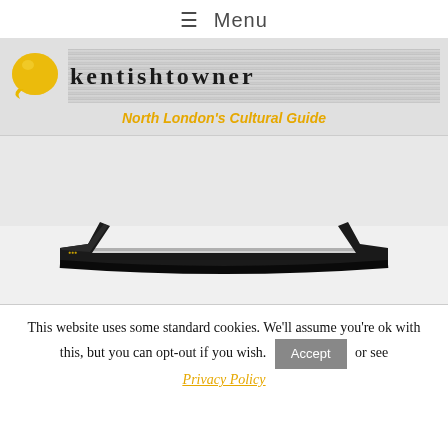≡ Menu
[Figure (logo): Kentish Towner logo with yellow speech bubble icon and newspaper-texture background showing site name 'kentishtowner' and tagline 'North London's Cultural Guide']
[Figure (photo): A pair of dark-framed glasses viewed from above/behind, showing the temples and bridge, against a light grey/white background. Only the top portion of the glasses frames is visible.]
This website uses some standard cookies. We'll assume you're ok with this, but you can opt-out if you wish. Accept or see Privacy Policy